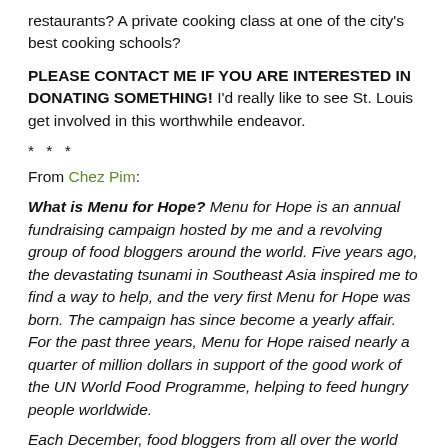restaurants? A private cooking class at one of the city's best cooking schools?
PLEASE CONTACT ME IF YOU ARE INTERESTED IN DONATING SOMETHING! I'd really like to see St. Louis get involved in this worthwhile endeavor.
* * *
From Chez Pim:
What is Menu for Hope? Menu for Hope is an annual fundraising campaign hosted by me and a revolving group of food bloggers around the world. Five years ago, the devastating tsunami in Southeast Asia inspired me to find a way to help, and the very first Menu for Hope was born. The campaign has since become a yearly affair. For the past three years, Menu for Hope raised nearly a quarter of million dollars in support of the good work of the UN World Food Programme, helping to feed hungry people worldwide.
Each December, food bloggers from all over the world join